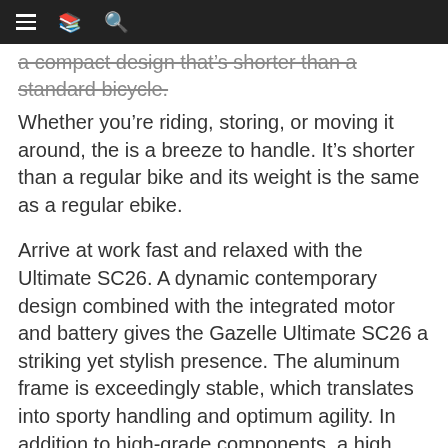≡  📖  🔍
a compact design that's shorter than a standard bicycle.
Whether you're riding, storing, or moving it around, the is a breeze to handle. It's shorter than a regular bike and its weight is the same as a regular ebike.
Arrive at work fast and relaxed with the Ultimate SC26. A dynamic contemporary design combined with the integrated motor and battery gives the Gazelle Ultimate SC26 a striking yet stylish presence. The aluminum frame is exceedingly stable, which translates into sporty handling and optimum agility. In addition to high-grade components, a high comfort level has been achieved by using puncture-resistant tires, ergonomic handlebar grips, and a suspension front fork.
- Comfortable yet sporty cycling with powerful